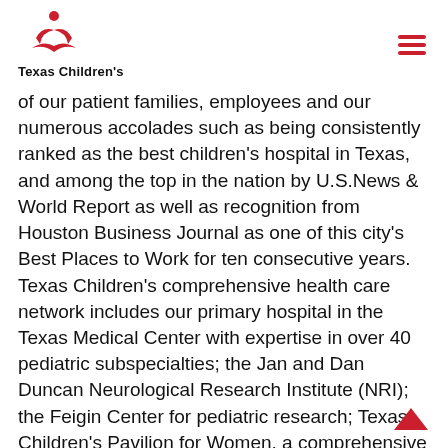Texas Children's
of our patient families, employees and our numerous accolades such as being consistently ranked as the best children's hospital in Texas, and among the top in the nation by U.S.News & World Report as well as recognition from Houston Business Journal as one of this city's Best Places to Work for ten consecutive years. Texas Children's comprehensive health care network includes our primary hospital in the Texas Medical Center with expertise in over 40 pediatric subspecialties; the Jan and Dan Duncan Neurological Research Institute (NRI); the Feigin Center for pediatric research; Texas Children's Pavilion for Women, a comprehensive obstetrics/gynecology facility focusing on high-risk births; Texas Children's Hospital West Campus, a community hospital in suburban West Houston; and Texas Children's Hospital The Woodlands, the first